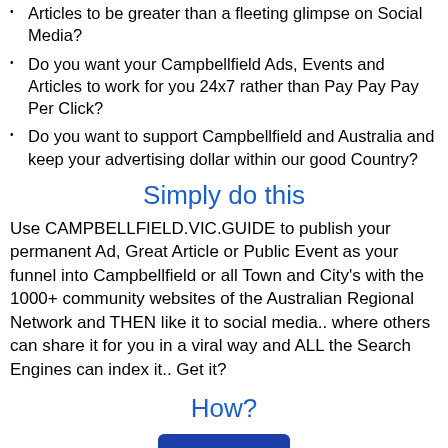Articles to be greater than a fleeting glimpse on Social Media?
Do you want your Campbellfield Ads, Events and Articles to work for you 24x7 rather than Pay Pay Pay Per Click?
Do you want to support Campbellfield and Australia and keep your advertising dollar within our good Country?
Simply do this
Use CAMPBELLFIELD.VIC.GUIDE to publish your permanent Ad, Great Article or Public Event as your funnel into Campbellfield or all Town and City's with the 1000+ community websites of the Australian Regional Network and THEN like it to social media.. where others can share it for you in a viral way and ALL the Search Engines can index it.. Get it?
How?
[Figure (other): Blue button partially visible at bottom of page]